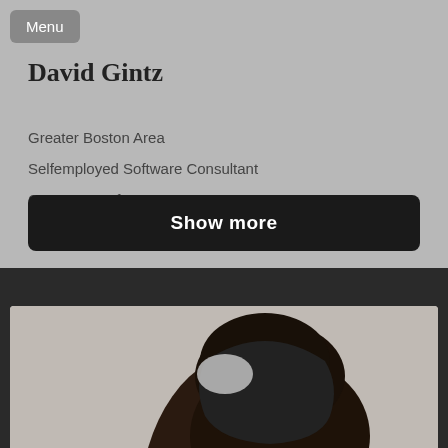Menu
David Gintz
Greater Boston Area
Selfemployed Software Consultant
Computer Software
Show more
[Figure (photo): Top portion of a person's head, showing dark curly/short hair with a gray/white patch, photographed from slightly above against a light gray background]